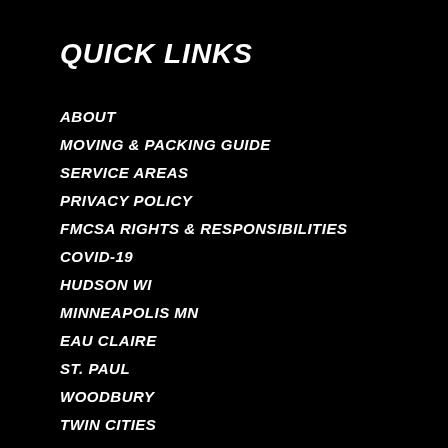QUICK LINKS
ABOUT
MOVING & PACKING GUIDE
SERVICE AREAS
PRIVACY POLICY
FMCSA RIGHTS & RESPONSIBILITIES
COVID-19
HUDSON WI
MINNEAPOLIS MN
EAU CLAIRE
ST. PAUL
WOODBURY
TWIN CITIES